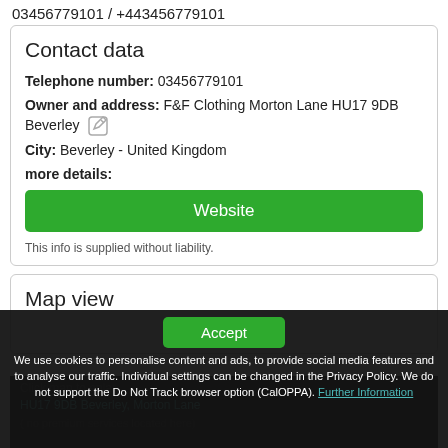03456779101 / +443456779101
Contact data
Telephone number: 03456779101
Owner and address: F&F Clothing Morton Lane HU17 9DB Beverley
City: Beverley - United Kingdom
more details:
Website
This info is supplied without liability.
Map view
Accept
We use cookies to personalise content and ads, to provide social media features and to analyse our traffic. Individual settings can be changed in the Privacy Policy. We do not support the Do Not Track browser option (CalOPPA). Further Information